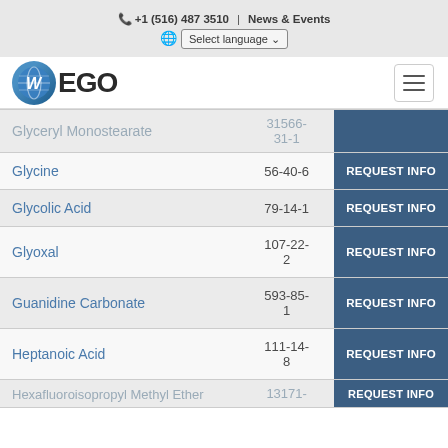+1 (516) 487 3510 | News & Events | Select language
[Figure (logo): WEGO company logo with blue globe icon and hamburger menu button]
| Product Name | CAS Number | Action |
| --- | --- | --- |
| Glyceryl Monostearate | 31566-31-1 | REQUEST INFO |
| Glycine | 56-40-6 | REQUEST INFO |
| Glycolic Acid | 79-14-1 | REQUEST INFO |
| Glyoxal | 107-22-2 | REQUEST INFO |
| Guanidine Carbonate | 593-85-1 | REQUEST INFO |
| Heptanoic Acid | 111-14-8 | REQUEST INFO |
| Hexafluoroisopropyl Methyl Ether | 13171- | REQUEST INFO |